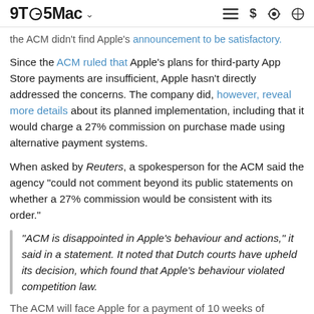9TO5Mac
the ACM didn't find Apple's announcement to be satisfactory.
Since the ACM ruled that Apple's plans for third-party App Store payments are insufficient, Apple hasn't directly addressed the concerns. The company did, however, reveal more details about its planned implementation, including that it would charge a 27% commission on purchase made using alternative payment systems.
When asked by Reuters, a spokesperson for the ACM said the agency "could not comment beyond its public statements on whether a 27% commission would be consistent with its order."
"ACM is disappointed in Apple's behaviour and actions," it said in a statement. It noted that Dutch courts have upheld its decision, which found that Apple's behaviour violated competition law.
The ACM will face Apple for a payment of 10 weeks of